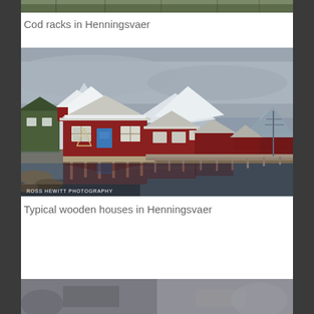[Figure (photo): Top strip showing cod racks in Henningsvaer, partial view cropped at top of page]
Cod racks in Henningsvaer
[Figure (photo): Typical wooden red houses in Henningsvaer on stilts over water with snow-capped mountains in background and their reflection in the water. A green house on the left, red buildings extending to the right. A blue door is visible on the main red house. Photo credit: ROSS HEWITT PHOTOGRAPHY]
Typical wooden houses in Henningsvaer
[Figure (photo): Partial bottom strip of another photo, partially visible at the bottom of the page]